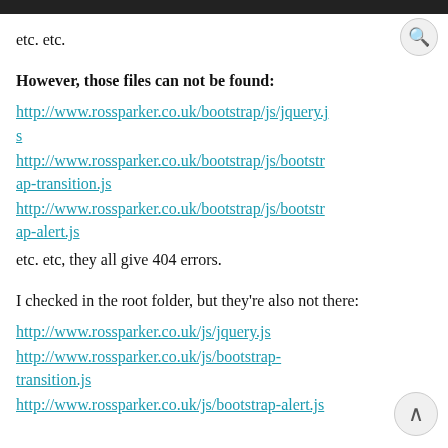etc. etc.
However, those files can not be found:
http://www.rossparker.co.uk/bootstrap/js/jquery.js
http://www.rossparker.co.uk/bootstrap/js/bootstrap-transition.js
http://www.rossparker.co.uk/bootstrap/js/bootstrap-alert.js
etc. etc, they all give 404 errors.
I checked in the root folder, but they're also not there:
http://www.rossparker.co.uk/js/jquery.js
http://www.rossparker.co.uk/js/bootstrap-transition.js
http://www.rossparker.co.uk/js/bootstrap-alert.js